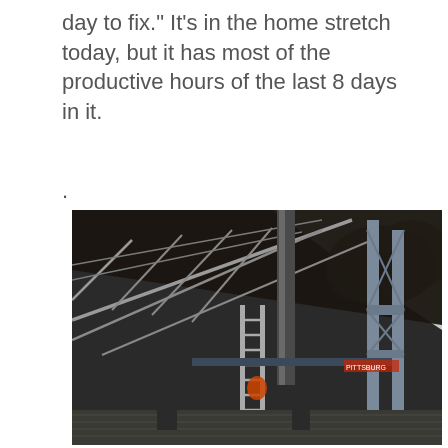day to fix."  It's in the home stretch today, but it has most of the productive hours of the last 8 days in it.
.
[Figure (photo): Interior view of a building under construction showing metal roof trusses and scaffolding with ladders. The photo is taken from below looking up and outward, showing steel cross-bracing, roof purlins against a dark ceiling, scaffolding equipment including an aluminum ladder, and trees visible through the open structure.]